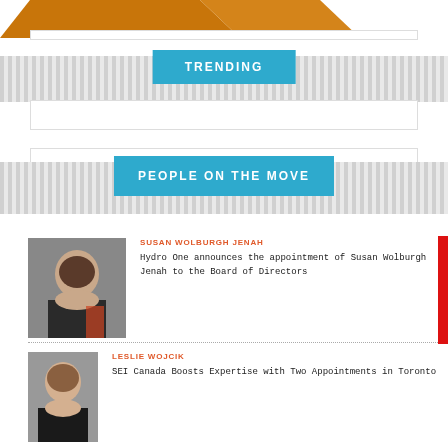[Figure (other): Partial orange banner/shape at top of page]
TRENDING
PEOPLE ON THE MOVE
[Figure (photo): Headshot photo of Susan Wolburgh Jenah, a woman with glasses and dark curly hair]
SUSAN WOLBURGH JENAH
Hydro One announces the appointment of Susan Wolburgh Jenah to the Board of Directors
[Figure (photo): Headshot photo of Leslie Wojcik, a woman with shoulder-length brown hair]
LESLIE WOJCIK
SEI Canada Boosts Expertise with Two Appointments in Toronto